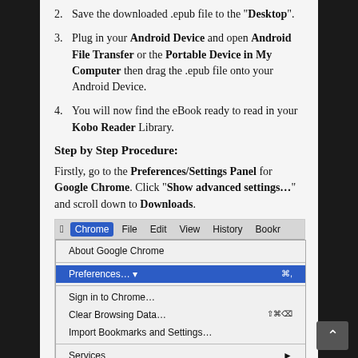2. Save the downloaded .epub file to the "Desktop".
3. Plug in your Android Device and open Android File Transfer or the Portable Device in My Computer then drag the .epub file onto your Android Device.
4. You will now find the eBook ready to read in your Kobo Reader Library.
Step by Step Procedure:
Firstly, go to the Preferences/Settings Panel for Google Chrome. Click "Show advanced settings..." and scroll down to Downloads.
[Figure (screenshot): Screenshot of Google Chrome menu on Mac OS X showing the Chrome dropdown menu with Preferences... highlighted in blue, along with other menu items: About Google Chrome, Sign in to Chrome..., Clear Browsing Data..., Import Bookmarks and Settings..., Services, Hide Google Chrome, Hide Others, Show All]